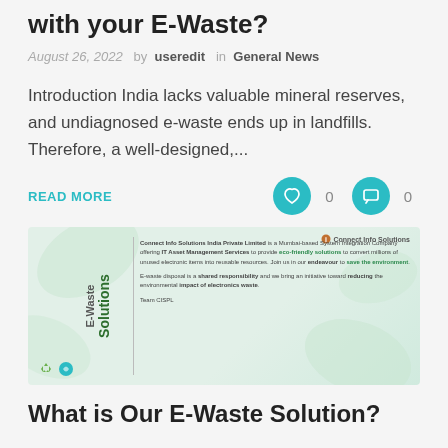with your E-Waste?
August 26, 2022  by  useredit  in  General News
Introduction India lacks valuable mineral reserves, and undiagnosed e-waste ends up in landfills. Therefore, a well-designed,...
READ MORE
[Figure (photo): Promotional image for E-Waste Solutions by Connect Info Solutions India Private Limited, showing rotated text 'E-Waste Solutions' and company description text, with leaf/nature background graphics and recycling icons.]
What is Our E-Waste Solution?